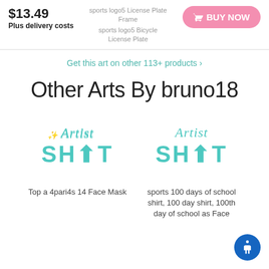$13.49 sports logo5 License Plate Frame | sports logo5 Bicycle License Plate
Plus delivery costs
BUY NOW
Get this art on other 113+ products >
Other Arts By bruno18
[Figure (logo): Artist Shot logo in teal/cyan color]
[Figure (logo): Artist Shot logo in teal/cyan color]
Top a 4pari4s 14 Face Mask
sports 100 days of school shirt, 100 day shirt, 100th day of school as Face